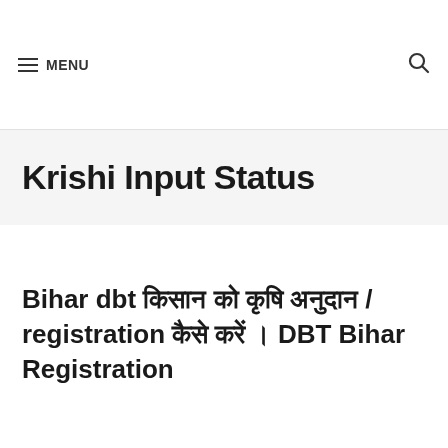MENU
Krishi Input Status
Bihar dbt किसान को कृषि अनुदान / registration कैसे करें । DBT Bihar Registration